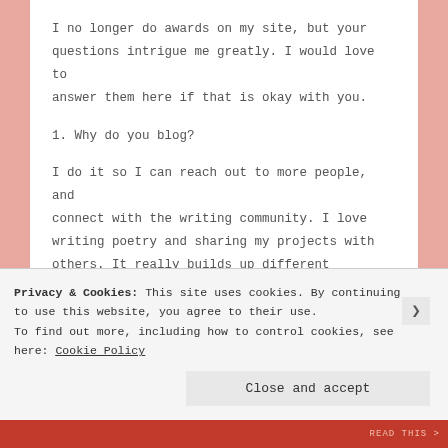I no longer do awards on my site, but your questions intrigue me greatly. I would love to answer them here if that is okay with you.
1. Why do you blog?
I do it so I can reach out to more people, and connect with the writing community. I love writing poetry and sharing my projects with others. It really builds up different connections in such community and I've met great writers I would have never otherwise met if I didn't start my website
Privacy & Cookies: This site uses cookies. By continuing to use this website, you agree to their use. To find out more, including how to control cookies, see here: Cookie Policy
Close and accept